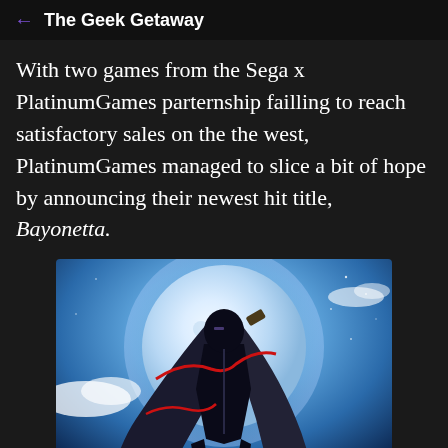← The Geek Getaway
With two games from the Sega x PlatinumGames parternship failling to reach satisfactory sales on the the west, PlatinumGames managed to slice a bit of hope by announcing their newest hit title, Bayonetta.
[Figure (illustration): Illustration of Bayonetta character in a black bodysuit with long black hair and a gun, posed against a large full moon in a blue sky background]